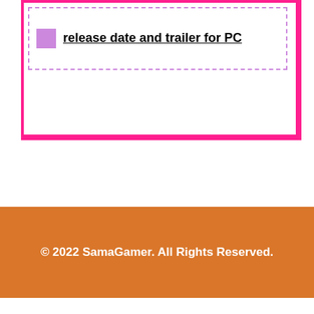[Figure (screenshot): A pink-bordered card with a dashed purple border containing a small purple icon and bold underlined link text reading 'release date and trailer for PC']
© 2022 SamaGamer. All Rights Reserved.